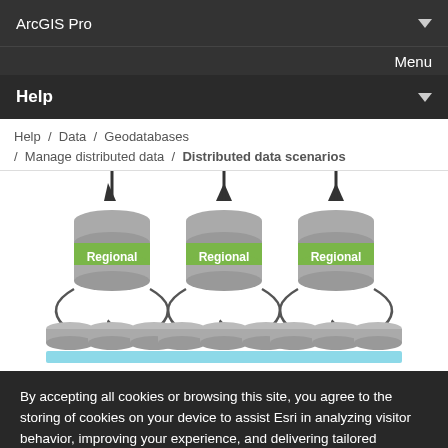ArcGIS Pro
Menu
Help
Help / Data / Geodatabases / Manage distributed data / Distributed data scenarios
[Figure (illustration): Three regional geodatabase servers each with 'Regional' label in green, arrows pointing down into them from above, and circular arrows connecting to three smaller local geodatabases below each, with light blue labels at the bottom.]
By accepting all cookies or browsing this site, you agree to the storing of cookies on your device to assist Esri in analyzing visitor behavior, improving your experience, and delivering tailored advertising on and off our sites. Manage cookies here or